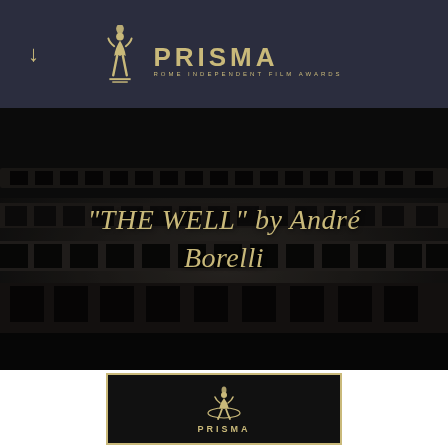[Figure (logo): Prisma Rome Independent Film Awards logo with golden figurine trophy and PRISMA wordmark on dark navy background header bar]
[Figure (photo): Black and white photo of the Colosseum in Rome at night, dimly lit, used as a background for the film title overlay]
"THE WELL" by André Borelli
[Figure (logo): Prisma Rome Independent Film Awards award card with golden border, black background, golden trophy figurine logo and PRISMA text]